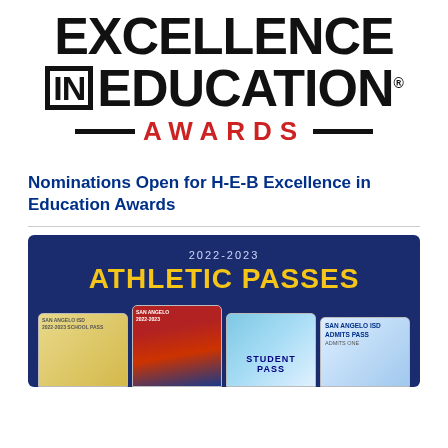[Figure (logo): H-E-B Excellence in Education Awards logo with bold black uppercase text, 'IN' in a black bordered box, and 'AWARDS' in red with dashes on either side. Registered trademark symbol after 'EDUCATION'.]
Nominations Open for H-E-B Excellence in Education Awards
[Figure (photo): Dark navy blue promotional graphic showing '2022-2023 ATHLETIC PASSES' in gold/yellow bold text, with multiple athletic pass cards displayed below including district pass cards in various designs.]